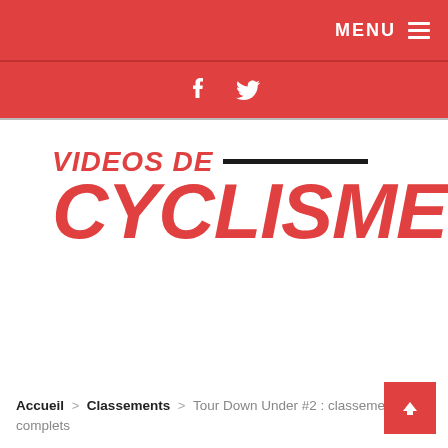MENU ≡
[Figure (other): Facebook and Twitter social media icons in white on red background]
VIDEOS DE CYCLISME
Accueil > Classements > Tour Down Under #2 : classements complets